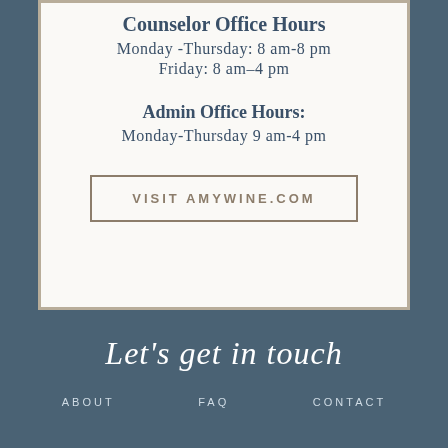Counselor Office Hours
Monday -Thursday: 8 am-8 pm
Friday: 8 am–4 pm
Admin Office Hours:
Monday-Thursday 9 am-4 pm
VISIT AMYWINE.COM
Let's get in touch
ABOUT   FAQ   CONTACT